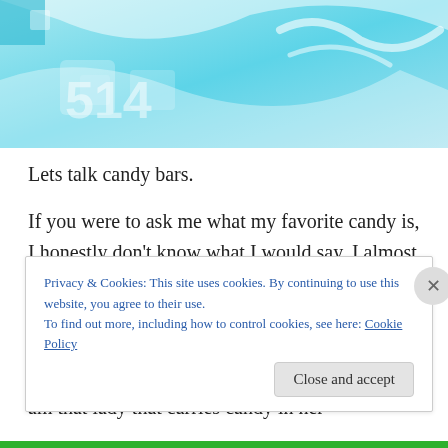[Figure (photo): A cyan/turquoise and white abstract image, appears to be candy packaging with blue and white colors.]
Lets talk candy bars.
If you were to ask me what my favorite candy is, I honestly don't know what I would say. I almost think I would answer that question differently depending on my mood, the month, or whatever was closest to me… and by that last one I mean, whichever candy was stashed in my purse. Yes, I am that lady that carries candy in her
Privacy & Cookies: This site uses cookies. By continuing to use this website, you agree to their use.
To find out more, including how to control cookies, see here: Cookie Policy